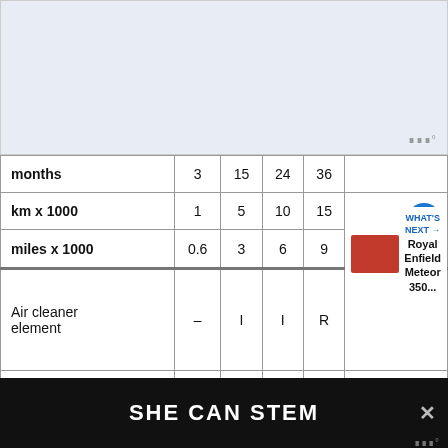[Figure (other): White/light blue image area (content not visible), with watermark symbol in bottom right]
|  | 3 | 15 | 24 | 36 |  |
| --- | --- | --- | --- | --- | --- |
| months | 3 | 15 | 24 | 36 |  |
| km x 1000 | 1 | 5 | 10 | 15 |  |
| miles x 1000 | 0.6 | 3 | 6 | 9 | Every |
| Air cleaner element | – | I | I | R |  |
| Exhaust pipe bo... by... |  |  |  |  |  |
[Figure (other): Advertisement overlay: black bar with white bold text 'SHE CAN STEM' and a close (X) button on the right]